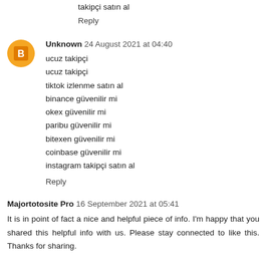takipçi satın al
Reply
Unknown  24 August 2021 at 04:40
ucuz takipçi
ucuz takipçi
tiktok izlenme satın al
binance güvenilir mi
okex güvenilir mi
paribu güvenilir mi
bitexen güvenilir mi
coinbase güvenilir mi
instagram takipçi satın al
Reply
Majortotosite Pro  16 September 2021 at 05:41
It is in point of fact a nice and helpful piece of info. I'm happy that you shared this helpful info with us. Please stay connected to like this. Thanks for sharing.